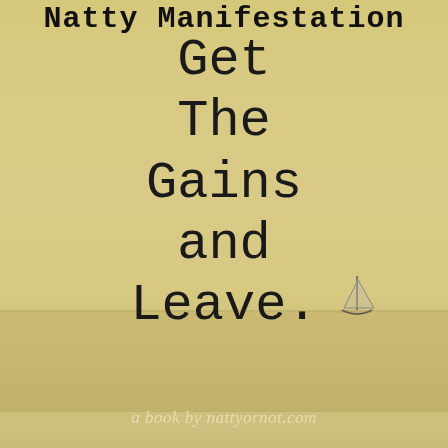Natty Manifestation
[Figure (illustration): Book cover image with golden/tan background showing a sailboat on a calm horizon. Text overlay reads 'Get The Gains and Leave.' with subtitle 'a book by nattyornot.com']
Get The Gains and Leave.
a book by nattyornot.com